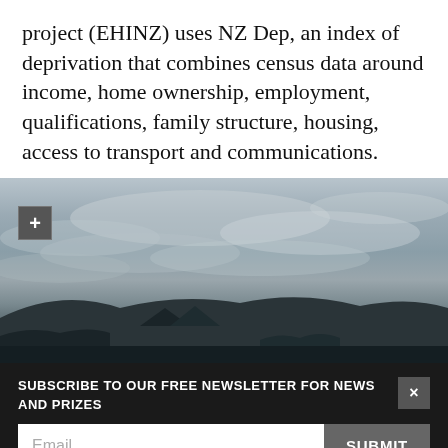project (EHINZ) uses NZ Dep, an index of deprivation that combines census data around income, home ownership, employment, qualifications, family structure, housing, access to transport and communications.
[Figure (photo): Overcast landscape photo showing grey cloudy sky over hills and trees, in black and white tones. A small '+' button overlay is visible in the upper left of the image.]
SUBSCRIBE TO OUR FREE NEWSLETTER FOR NEWS AND PRIZES
Email
SUBMIT
3 FREE ARTICLES LEFT
Subscribe for $1 | Sign in